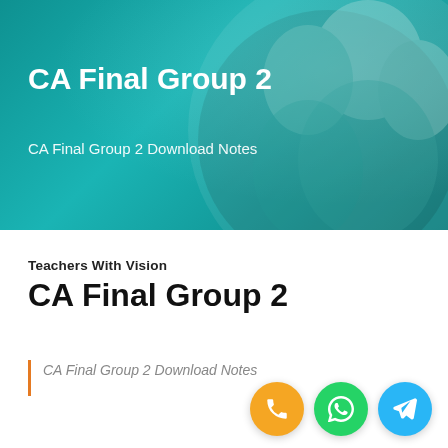[Figure (photo): Teal/cyan banner background with blurred students group photo overlay and decorative circle shapes]
CA Final Group 2
CA Final Group 2 Download Notes
Teachers With Vision
CA Final Group 2
CA Final Group 2 Download Notes